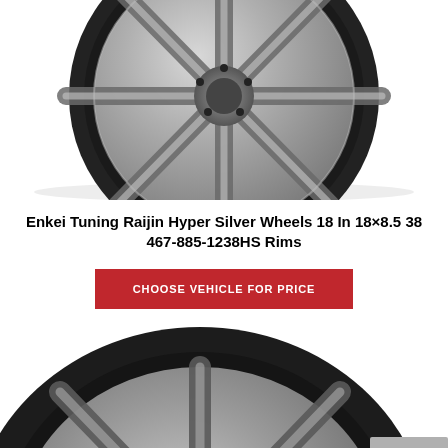[Figure (photo): Top-angled view of an Enkei Tuning Raijin Hyper Silver wheel/rim on white background, showing the multi-spoke silver design with black inner barrel]
Enkei Tuning Raijin Hyper Silver Wheels 18 In 18×8.5 38 467-885-1238HS Rims
CHOOSE VEHICLE FOR PRICE
[Figure (photo): Close-up angled view of an Enkei Tuning Raijin wheel/rim showing the spoke detail and Enkei branding on the barrel, with a partially visible grey background element at lower right]